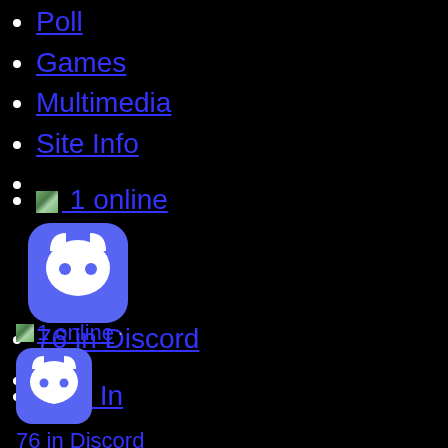Poll
Games
Multimedia
Site Info
1 online
76 in Discord
Sign In
1 online
76 in Discord
Create Account · Sign In ·
.